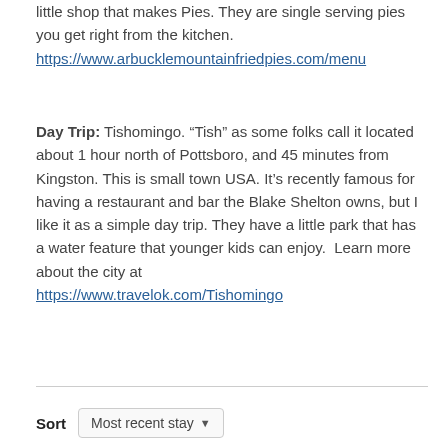little shop that makes Pies. They are single serving pies you get right from the kitchen.
https://www.arbucklemountainfriedpies.com/menu
Day Trip: Tishomingo. “Tish” as some folks call it located about 1 hour north of Pottsboro, and 45 minutes from Kingston. This is small town USA. It’s recently famous for having a restaurant and bar the Blake Shelton owns, but I like it as a simple day trip. They have a little park that has a water feature that younger kids can enjoy.  Learn more about the city at
https://www.travelok.com/Tishomingo
Sort   Most recent stay